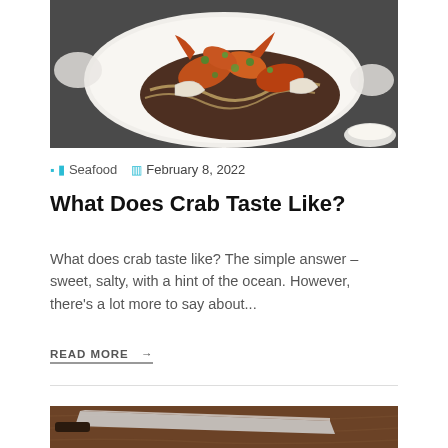[Figure (photo): A plate of crab seafood dish with dark sauce, carrots, herbs, on a white plate against a dark background]
🗂 Seafood  📅 February 8, 2022
What Does Crab Taste Like?
What does crab taste like? The simple answer – sweet, salty, with a hint of the ocean. However, there's a lot more to say about...
READ MORE →
[Figure (photo): A knife or kitchen utensil on a wooden surface, partially visible at the bottom of the page]